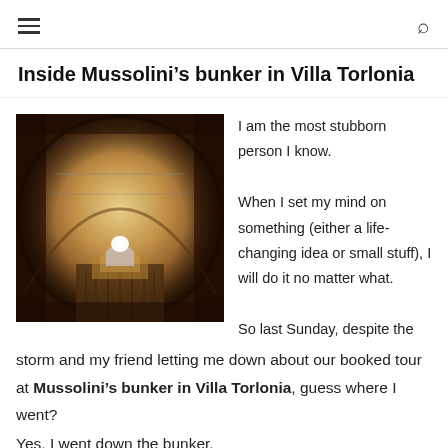≡  🔍
Inside Mussolini's bunker in Villa Torlonia
[Figure (photo): Interior tunnel photograph of Mussolini's bunker at Villa Torlonia — a dimly lit circular tunnel with arched doorways leading into the distance, wooden plank flooring, warm amber/brown tones with bright white light at the far end.]
I am the most stubborn person I know.
When I set my mind on something (either a life-changing idea or small stuff), I will do it no matter what.
So last Sunday, despite the storm and my friend letting me down about our booked tour at Mussolini's bunker in Villa Torlonia, guess where I went?
Yes, I went down the bunker.